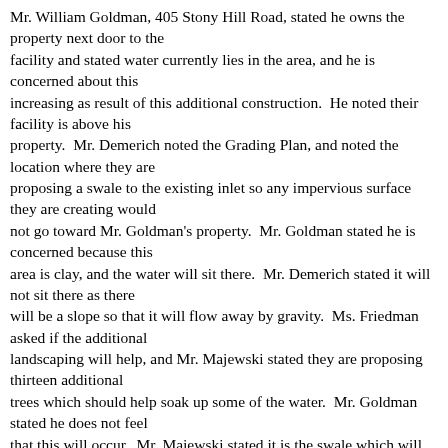Mr. William Goldman, 405 Stony Hill Road, stated he owns the property next door to the facility and stated water currently lies in the area, and he is concerned about this increasing as result of this additional construction.  He noted their facility is above his property.  Mr. Demerich noted the Grading Plan, and noted the location where they are proposing a swale to the existing inlet so any impervious surface they are creating would not go toward Mr. Goldman's property.  Mr. Goldman stated he is concerned because this area is clay, and the water will sit there.  Mr. Demerich stated it will not sit there as there will be a slope so that it will flow away by gravity.  Ms. Friedman asked if the additional landscaping will help, and Mr. Majewski stated they are proposing thirteen additional trees which should help soak up some of the water.  Mr. Goldman stated he does not feel that this will occur.  Mr. Majewski stated it is the swale which will really help the situation.  Mr. Goldman stated he is not convinced that the swale will correct the problem.  Mr. Majewski stated they could look at the property to